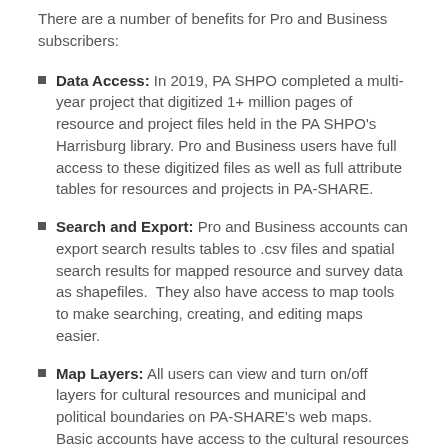There are a number of benefits for Pro and Business subscribers:
Data Access: In 2019, PA SHPO completed a multi-year project that digitized 1+ million pages of resource and project files held in the PA SHPO's Harrisburg library. Pro and Business users have full access to these digitized files as well as full attribute tables for resources and projects in PA-SHARE.
Search and Export: Pro and Business accounts can export search results tables to .csv files and spatial search results for mapped resource and survey data as shapefiles. They also have access to map tools to make searching, creating, and editing maps easier.
Map Layers: All users can view and turn on/off layers for cultural resources and municipal and political boundaries on PA-SHARE's web maps. Basic accounts have access to the cultural resources layers, municipal and political boundaries layers, plus layers for Pennsylvania soils, physiographic zones, and watersheds. Pro and Business accounts have access to all of PA-SHARE's available layers, which in addition to